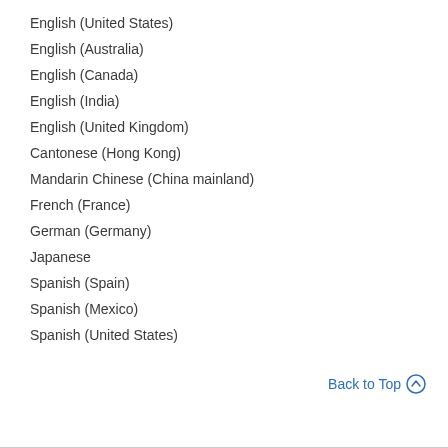English (United States)
English (Australia)
English (Canada)
English (India)
English (United Kingdom)
Cantonese (Hong Kong)
Mandarin Chinese (China mainland)
French (France)
German (Germany)
Japanese
Spanish (Spain)
Spanish (Mexico)
Spanish (United States)
Back to Top ⌃